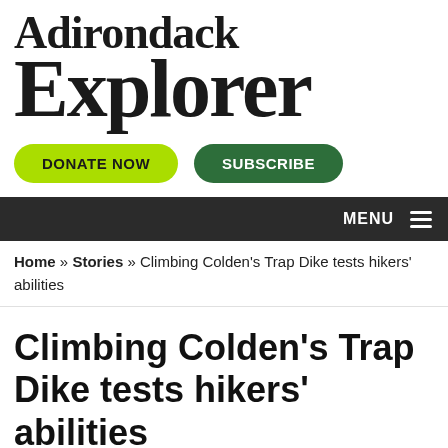Adirondack Explorer
DONATE NOW   SUBSCRIBE
MENU
Home » Stories » Climbing Colden's Trap Dike tests hikers' abilities
Climbing Colden's Trap Dike tests hikers' abilities
August 4, 2021 — 7 Comments